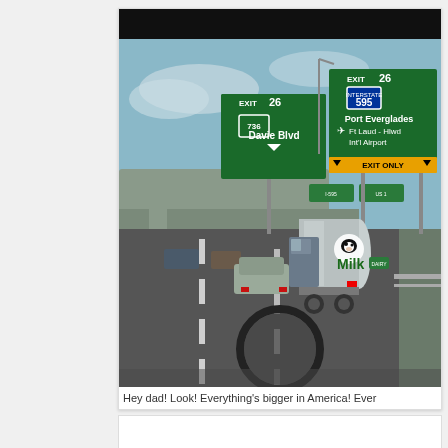[Figure (photo): Highway scene taken from inside a car showing a milk tanker truck ahead on a multi-lane highway. Green interstate highway signs overhead read: EXIT 26 - Route 736 Davie Blvd (with arrow down), and EXIT 26 - I-595 Port Everglades, Ft Laud-Hlwd Int'l Airport. An overpass bridge is visible to the left. The tanker truck has a cow logo and the word 'Milk' on its silver tank. A rearview mirror reflection is visible at the bottom.]
Hey dad! Look! Everything's bigger in America! Ever